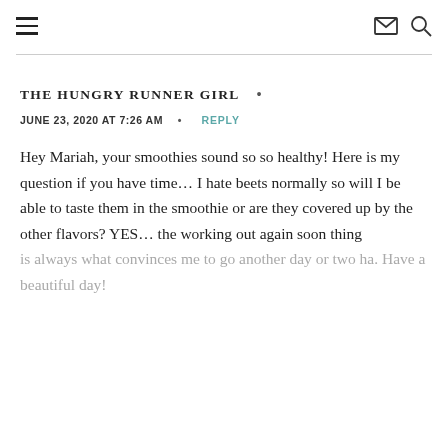≡  ✉ 🔍
THE HUNGRY RUNNER GIRL  •
JUNE 23, 2020 AT 7:26 AM  •  REPLY
Hey Mariah, your smoothies sound so so healthy! Here is my question if you have time… I hate beets normally so will I be able to taste them in the smoothie or are they covered up by the other flavors? YES… the working out again soon thing is always what convinces me to go another day or two ha. Have a beautiful day!